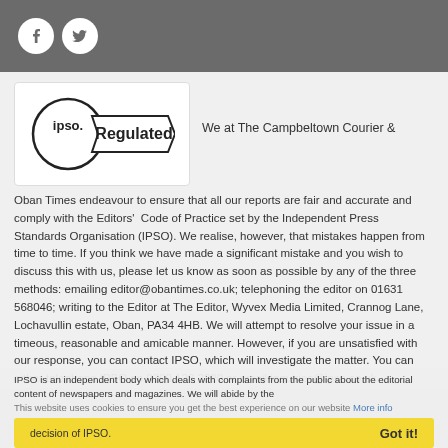[Social media icons: Facebook, Twitter]
[Figure (logo): IPSO Regulated logo — circle with 'ipso.' text and a banner ribbon reading 'Regulated']
We at The Campbeltown Courier &
Oban Times endeavour to ensure that all our reports are fair and accurate and comply with the Editors' Code of Practice set by the Independent Press Standards Organisation (IPSO). We realise, however, that mistakes happen from time to time. If you think we have made a significant mistake and you wish to discuss this with us, please let us know as soon as possible by any of the three methods: emailing editor@obantimes.co.uk; telephoning the editor on 01631 568046; writing to the Editor at The Editor, Wyvex Media Limited, Crannog Lane, Lochavullin estate, Oban, PA34 4HB. We will attempt to resolve your issue in a timeous, reasonable and amicable manner. However, if you are unsatisfied with our response, you can contact IPSO, which will investigate the matter. You can either telephone IPSO on 0300 123 2220 or email inquiries@ipso.co.uk.
IPSO is an independent body which deals with complaints from the public about the editorial content of newspapers and magazines. We will abide by the decision of IPSO.
This website uses cookies to ensure you get the best experience on our website More info
Got it!